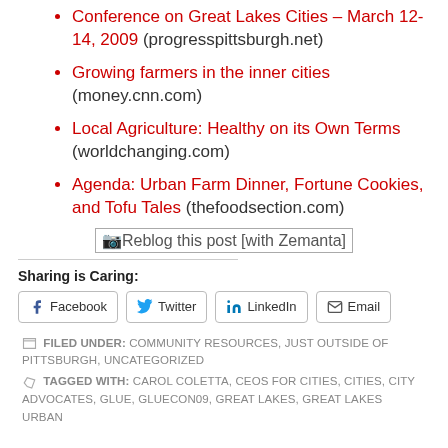Conference on Great Lakes Cities – March 12-14, 2009 (progresspittsburgh.net)
Growing farmers in the inner cities (money.cnn.com)
Local Agriculture: Healthy on its Own Terms (worldchanging.com)
Agenda: Urban Farm Dinner, Fortune Cookies, and Tofu Tales (thefoodsection.com)
[Figure (other): Reblog this post [with Zemanta] button/image]
Sharing is Caring:
Facebook   Twitter   LinkedIn   Email
FILED UNDER: COMMUNITY RESOURCES, JUST OUTSIDE OF PITTSBURGH, UNCATEGORIZED
TAGGED WITH: CAROL COLETTA, CEOS FOR CITIES, CITIES, CITY ADVOCATES, GLUE, GLUECON09, GREAT LAKES, GREAT LAKES URBAN